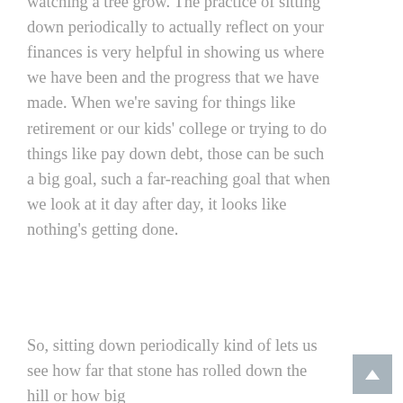watching a tree grow. The practice of sitting down periodically to actually reflect on your finances is very helpful in showing us where we have been and the progress that we have made. When we're saving for things like retirement or our kids' college or trying to do things like pay down debt, those can be such a big goal, such a far-reaching goal that when we look at it day after day, it looks like nothing's getting done.
So, sitting down periodically kind of lets us see how far that stone has rolled down the hill or how big